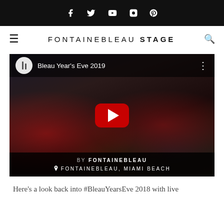Social media icons: Facebook, Twitter, YouTube, Instagram, Pinterest
FONTAINEBLEAU STAGE
[Figure (screenshot): YouTube video thumbnail for 'Bleau Year's Eve 2019' showing people dancing at a New Year's Eve party at Fontainebleau Miami Beach. Overlay shows YouTube play button. Footer shows 'BY FONTAINEBLEAU' and 'FONTAINEBLEAU, MIAMI BEACH'.]
Here's a look back into #BleauYearsEve 2018 with live